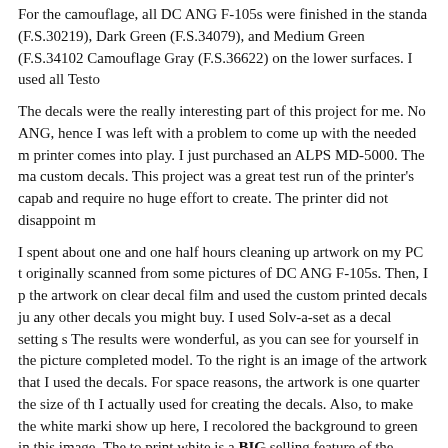For the camouflage, all DC ANG F-105s were finished in the standard (F.S.30219), Dark Green (F.S.34079), and Medium Green (F.S.34102), Camouflage Gray (F.S.36622) on the lower surfaces. I used all Testo...
The decals were the really interesting part of this project for me. No ANG, hence I was left with a problem to come up with the needed m... printer comes into play. I just purchased an ALPS MD-5000. The ma... custom decals. This project was a great test run of the printer's capab... and require no huge effort to create. The printer did not disappoint m...
I spent about one and one half hours cleaning up artwork on my PC t... originally scanned from some pictures of DC ANG F-105s. Then, I p... the artwork on clear decal film and used the custom printed decals ju... any other decals you might buy. I used Solv-a-set as a decal setting s... The results were wonderful, as you can see for yourself in the picture... completed model. To the right is an image of the artwork that I used ... the decals. For space reasons, the artwork is one quarter the size of th... I actually used for creating the decals. Also, to make the white marki... show up here, I recolored the background to green in this image. The... to print white is a BIG selling feature of the ALPS printer. The rest o... model's decals are scraps taken from various SuperScale decal sheets... THUD.
With the camouflage and decals completed, I applied a final gloss co... weathering. I did most of the weathering using very thin black enam... doing the flat coat. Then I applied it as air brush shading after the fl...